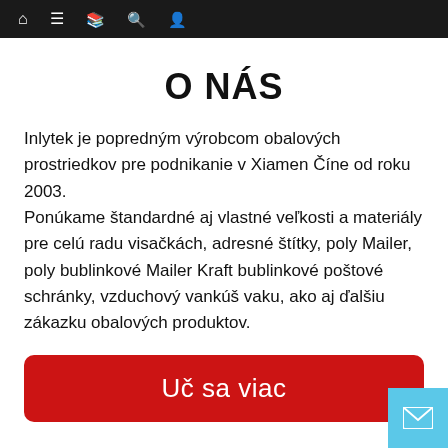Navigation bar with icons: home, menu, book, search, user
O NÁS
Inlytek je popredným výrobcom obalových prostriedkov pre podnikanie v Xiamen Číne od roku 2003. Ponúkame štandardné aj vlastné veľkosti a materiály pre celú radu visačkách, adresné štítky, poly Mailer, poly bublinkové Mailer Kraft bublinkové poštové schránky, vzduchový vankúš vaku, ako aj ďalšiu zákazku obalových produktov.
[Figure (other): Red button labeled 'Uč sa viac']
[Figure (other): Cyan/light-blue mail icon button in bottom-right corner]